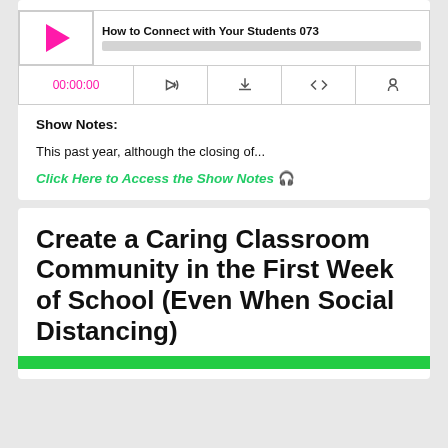[Figure (screenshot): Podcast audio player widget showing play button, episode title 'How to Connect with Your Students 073', progress bar, time display '00:00:00', and control icons for subscribe, download, embed, and share.]
Show Notes:
This past year, although the closing of...
Click Here to Access the Show Notes 🎧
Create a Caring Classroom Community in the First Week of School (Even When Social Distancing)